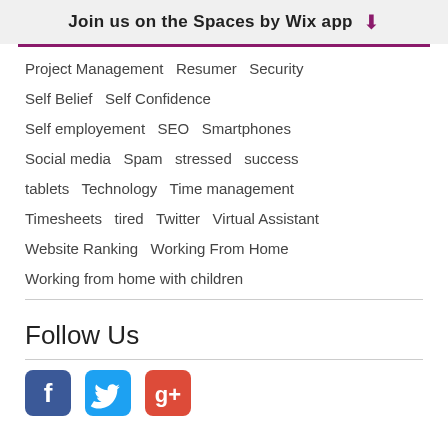Join us on the Spaces by Wix app
Project Management   Resumer   Security
Self Belief   Self Confidence
Self employement   SEO   Smartphones
Social media   Spam   stressed   success
tablets   Technology   Time management
Timesheets   tired   Twitter   Virtual Assistant
Website Ranking   Working From Home
Working from home with children
Follow Us
[Figure (other): Social media icons: Facebook (blue), Twitter (cyan), Google+ (red)]